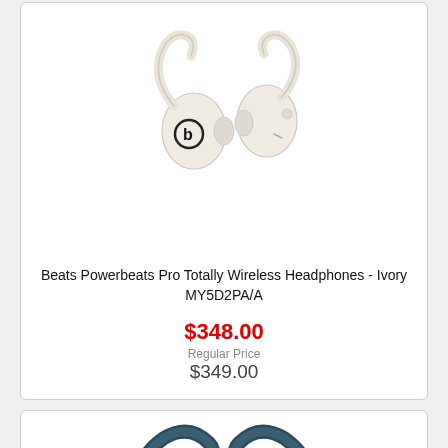[Figure (photo): Beats Powerbeats Pro wireless earphones in ivory/cream color, showing both earbuds with ear hooks]
Beats Powerbeats Pro Totally Wireless Headphones - Ivory MY5D2PA/A
$348.00
Regular Price
$349.00
[Figure (photo): Beats Powerbeats Pro wireless earphones in dark navy/black color, showing ear hooks]